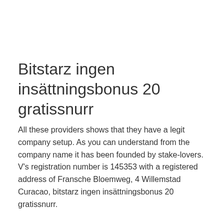Bitstarz ingen insättningsbonus 20 gratissnurr
All these providers shows that they have a legit company setup. As you can understand from the company name it has been founded by stake-lovers. V's registration number is 145353 with a registered address of Fransche Bloemweg, 4 Willemstad Curacao, bitstarz ingen insättningsbonus 20 gratissnurr.
The customer service department understands the intricacies that online